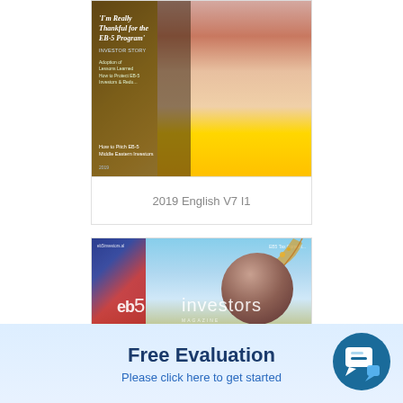[Figure (photo): Magazine cover of EB-5 Investors Magazine 2019 English V7 I1 featuring a woman in a yellow top with text 'I'm Really Thankful for the EB-5 Program' and investor story headline]
2019 English V7 I1
[Figure (photo): Magazine cover of eb5 investors Magazine with American flag, cherry blossom branches, and large 'eb5 investors' logo text]
Free Evaluation
Please click here to get started